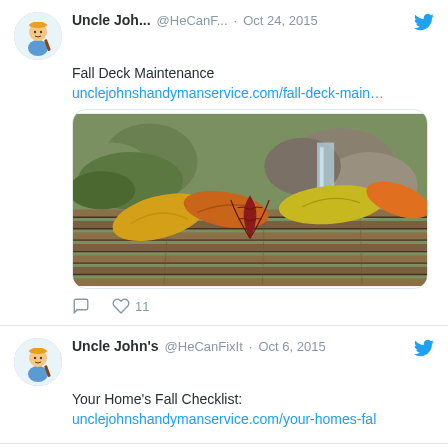Uncle Joh... @HeCanF... · Oct 24, 2015
Fall Deck Maintenance
unclejohnshandymanservice.com/fall-deck-main…
[Figure (photo): Autumn leaves on a wooden deck with moss and rocks in the background]
♡ 11
Uncle John's @HeCanFixIt · Oct 6, 2015
Your Home's Fall Checklist:
unclejohnshandymanservice.com/your-homes-fal